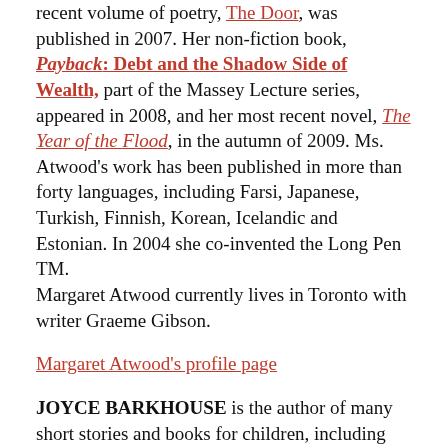recent volume of poetry, The Door, was published in 2007. Her non-fiction book, Payback: Debt and the Shadow Side of Wealth, part of the Massey Lecture series, appeared in 2008, and her most recent novel, The Year of the Flood, in the autumn of 2009. Ms. Atwood's work has been published in more than forty languages, including Farsi, Japanese, Turkish, Finnish, Korean, Icelandic and Estonian. In 2004 she co-invented the Long Pen TM. Margaret Atwood currently lives in Toronto with writer Graeme Gibson.
Margaret Atwood's profile page
JOYCE BARKHOUSE is the author of many short stories and books for children, including Anna's Pet (written with Margaret Atwood), which was made into a puppet play and toured internationally, and The Witch of Port Lajoie, which has been translated in